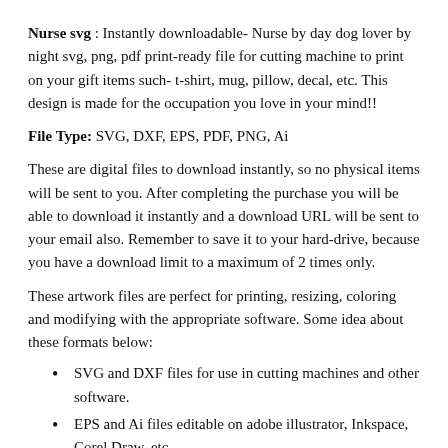Nurse svg : Instantly downloadable- Nurse by day dog lover by night svg, png, pdf print-ready file for cutting machine to print on your gift items such- t-shirt, mug, pillow, decal, etc. This design is made for the occupation you love in your mind!!
File Type: SVG, DXF, EPS, PDF, PNG, Ai
These are digital files to download instantly, so no physical items will be sent to you. After completing the purchase you will be able to download it instantly and a download URL will be sent to your email also. Remember to save it to your hard-drive, because you have a download limit to a maximum of 2 times only.
These artwork files are perfect for printing, resizing, coloring and modifying with the appropriate software. Some idea about these formats below:
SVG and DXF files for use in cutting machines and other software.
EPS and Ai files editable on adobe illustrator, Inkspace, Corel Draw, etc.